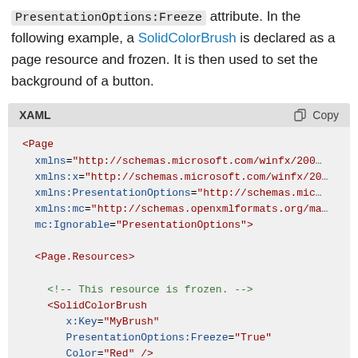PresentationOptions:Freeze attribute. In the following example, a SolidColorBrush is declared as a page resource and frozen. It is then used to set the background of a button.
[Figure (screenshot): XAML code block showing XML markup with Page element, xmlns attributes, Page.Resources, SolidColorBrush with x:Key, PresentationOptions:Freeze, and Color attributes]